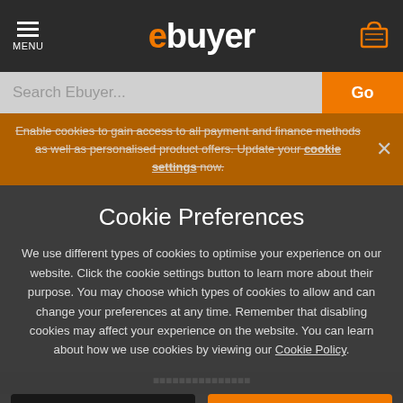[Figure (screenshot): Ebuyer website navigation bar with hamburger menu icon, MENU label, Ebuyer logo (orange 'e' + white 'buyer'), and shopping cart icon]
[Figure (screenshot): Search bar with 'Search Ebuyer...' placeholder text in grey input field and orange 'Go' button]
Enable cookies to gain access to all payment and finance methods as well as personalised product offers. Update your cookie settings now.
Cookie Preferences
We use different types of cookies to optimise your experience on our website. Click the cookie settings button to learn more about their purpose. You may choose which types of cookies to allow and can change your preferences at any time. Remember that disabling cookies may affect your experience on the website. You can learn about how we use cookies by viewing our Cookie Policy.
Amend Your Preference
✓ Accept All Cookies